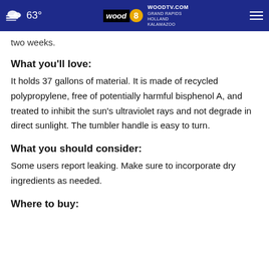63° | WOODTV.COM GRAND RAPIDS HOLLAND KALAMAZOO
two weeks.
What you'll love:
It holds 37 gallons of material. It is made of recycled polypropylene, free of potentially harmful bisphenol A, and treated to inhibit the sun's ultraviolet rays and not degrade in direct sunlight. The tumbler handle is easy to turn.
What you should consider:
Some users report leaking. Make sure to incorporate dry ingredients as needed.
Where to buy: